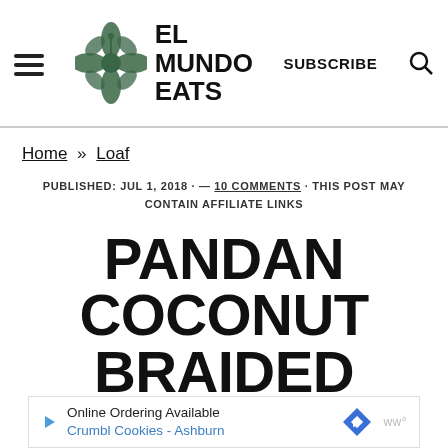EL MUNDO EATS | SUBSCRIBE
Home » Loaf
PUBLISHED: JUL 1, 2018 · — 10 COMMENTS · THIS POST MAY CONTAIN AFFILIATE LINKS
PANDAN COCONUT BRAIDED BREAD
Online Ordering Available
Crumbl Cookies - Ashburn